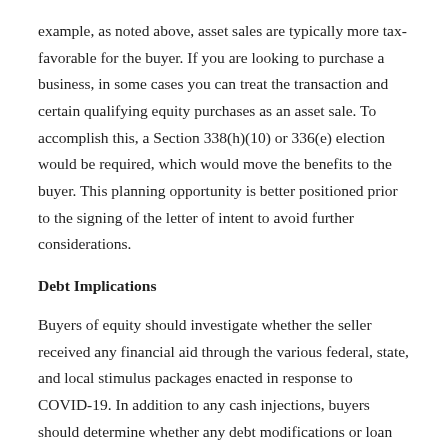example, as noted above, asset sales are typically more tax-favorable for the buyer. If you are looking to purchase a business, in some cases you can treat the transaction and certain qualifying equity purchases as an asset sale. To accomplish this, a Section 338(h)(10) or 336(e) election would be required, which would move the benefits to the buyer. This planning opportunity is better positioned prior to the signing of the letter of intent to avoid further considerations.
Debt Implications
Buyers of equity should investigate whether the seller received any financial aid through the various federal, state, and local stimulus packages enacted in response to COVID-19. In addition to any cash injections, buyers should determine whether any debt modifications or loan